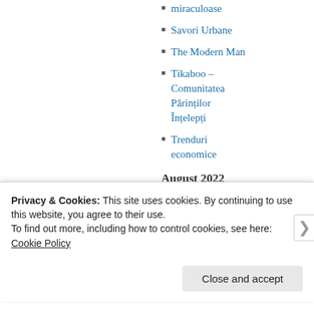miraculoase
Savori Urbane
The Modern Man
Tikaboo – Comunitatea Părinților Înțelepți
Trenduri economice
August 2022
| M | T | W | T | F | S | S |
| --- | --- | --- | --- | --- | --- | --- |
| 1 | 2 | 3 | 4 | 5 | 6 | 7 |
| 8 | 9 | 10 | 11 | 12 | 13 | 14 |
| 15 | 16 | 17 | 18 | 19 | 20 | 21 |
Privacy & Cookies: This site uses cookies. By continuing to use this website, you agree to their use. To find out more, including how to control cookies, see here: Cookie Policy
Close and accept